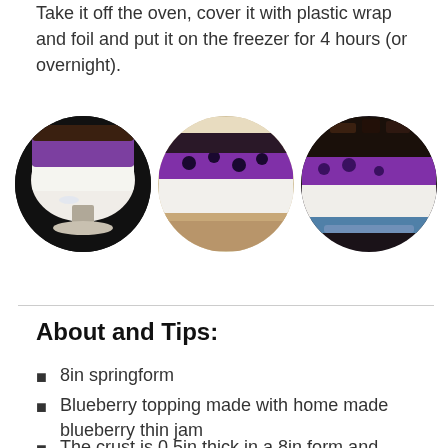Take it off the oven, cover it with plastic wrap and foil and put it on the freezer for 4 hours (or overnight).
[Figure (photo): Three circular photos showing blueberry cheesecake from different angles: full cake on pedestal, cross-section showing layers (crust, cream, blueberry topping), and close-up of layers.]
About and Tips:
8in springform
Blueberry topping made with home made blueberry thin jam
The crust is 0.5in thick in a 8in form and 0.25in thick in